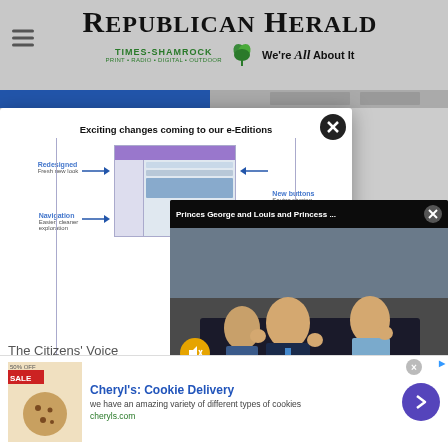Republican Herald
Times-Shamrock · Print · Radio · Digital · Outdoor · We're All About It
[Figure (screenshot): Modal popup showing 'Exciting changes coming to our e-Editions' with redesigned navigation and new buttons labels and arrows pointing to a browser screenshot]
The Citizens' Voice
[Figure (photo): Video popup titled 'Princes George and Louis and Princess ...' showing three royal children waving from a carriage, with mute button overlay]
[Figure (infographic): Ad banner: Cheryl's Cookie Delivery – we have an amazing variety of different types of cookies – cheryls.com]